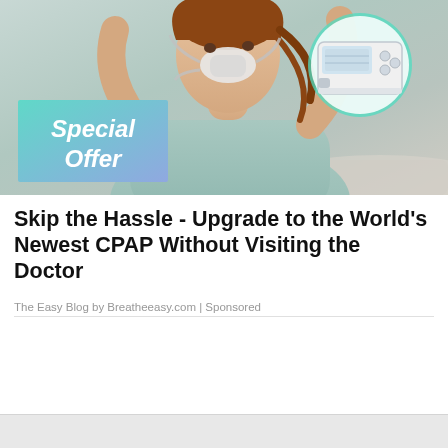[Figure (photo): Advertisement image showing a woman wearing a CPAP mask adjusting it with both hands raised, with a teal-highlighted circle containing a CPAP machine in the upper right, and a 'Special Offer' badge in teal/lavender gradient overlay on the lower left]
Skip the Hassle - Upgrade to the World's Newest CPAP Without Visiting the Doctor
The Easy Blog by Breatheeasy.com | Sponsored